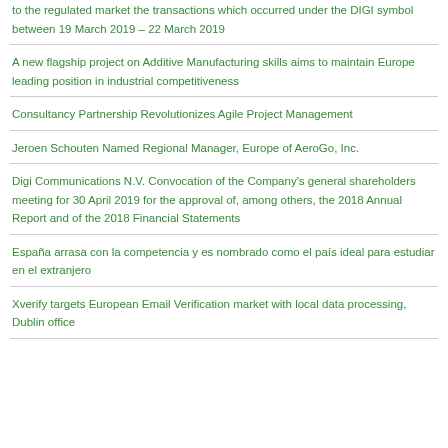to the regulated market the transactions which occurred under the DIGI symbol between 19 March 2019 – 22 March 2019
A new flagship project on Additive Manufacturing skills aims to maintain Europe leading position in industrial competitiveness
Consultancy Partnership Revolutionizes Agile Project Management
Jeroen Schouten Named Regional Manager, Europe of AeroGo, Inc.
Digi Communications N.V. Convocation of the Company's general shareholders meeting for 30 April 2019 for the approval of, among others, the 2018 Annual Report and of the 2018 Financial Statements
España arrasa con la competencia y es nombrado como el país ideal para estudiar en el extranjero
Xverify targets European Email Verification market with local data processing, Dublin office